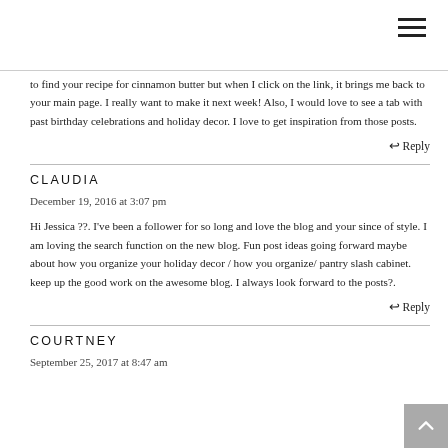to find your recipe for cinnamon butter but when I click on the link, it brings me back to your main page. I really want to make it next week! Also, I would love to see a tab with past birthday celebrations and holiday decor. I love to get inspiration from those posts.
↩ Reply
CLAUDIA
December 19, 2016 at 3:07 pm
Hi Jessica ??. I've been a follower for so long and love the blog and your since of style. I am loving the search function on the new blog. Fun post ideas going forward maybe about how you organize your holiday decor / how you organize/ pantry slash cabinet. keep up the good work on the awesome blog. I always look forward to the posts?.
↩ Reply
COURTNEY
September 25, 2017 at 8:47 am